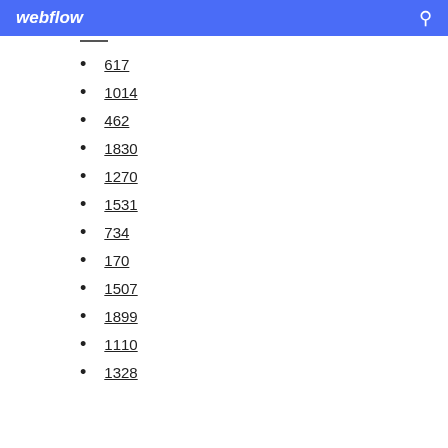webflow
617
1014
462
1830
1270
1531
734
170
1507
1899
1110
1328